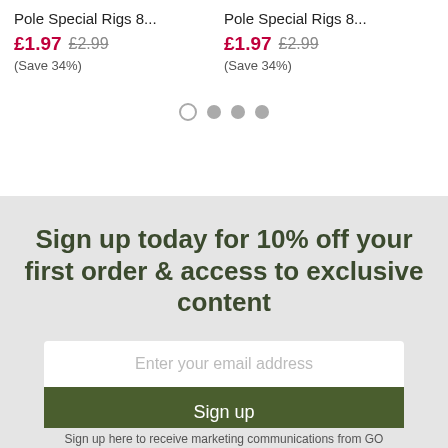Pole Special Rigs 8...
Pole Special Rigs 8...
£1.97 £2.99 (Save 34%)
£1.97 £2.99 (Save 34%)
[Figure (other): Carousel pagination dots: 4 dots, first is open/white, remaining 3 are filled grey]
Sign up today for 10% off your first order & access to exclusive content
Enter your email address
Sign up
Sign up here to receive marketing communications from GO